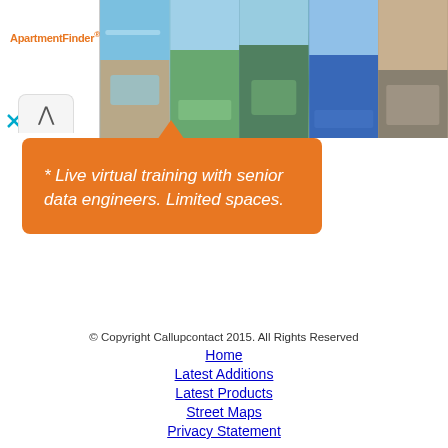[Figure (screenshot): ApartmentFinder advertisement banner with logo on left and 5 apartment photos on right]
* Live virtual training with senior data engineers. Limited spaces.
© Copyright Callupcontact 2015. All Rights Reserved
Home
Latest Additions
Latest Products
Street Maps
Privacy Statement